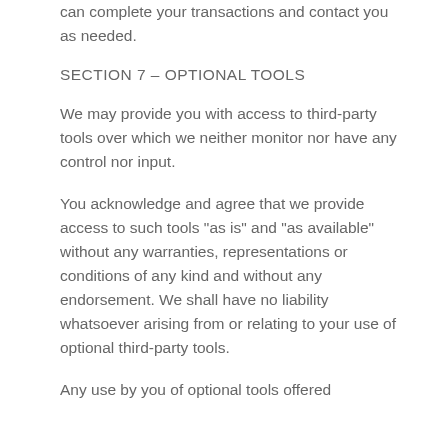can complete your transactions and contact you as needed.
SECTION 7 – OPTIONAL TOOLS
We may provide you with access to third-party tools over which we neither monitor nor have any control nor input.
You acknowledge and agree that we provide access to such tools "as is" and "as available" without any warranties, representations or conditions of any kind and without any endorsement. We shall have no liability whatsoever arising from or relating to your use of optional third-party tools.
Any use by you of optional tools offered